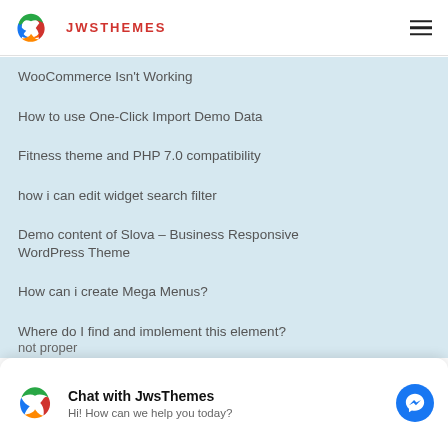JWSTHEMES
WooCommerce Isn't Working
How to use One-Click Import Demo Data
Fitness theme and PHP 7.0 compatibility
how i can edit widget search filter
Demo content of Slova – Business Responsive WordPress Theme
How can i create Mega Menus?
Where do I find and implement this element?
Webshop not working
not proper
Chat with JwsThemes
Hi! How can we help you today?